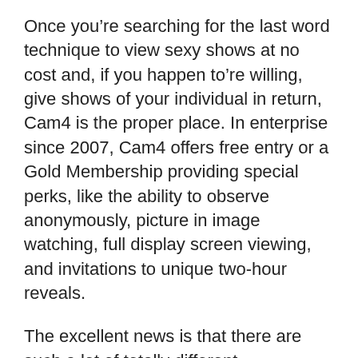Once you're searching for the last word technique to view sexy shows at no cost and, if you happen to're willing, give shows of your individual in return, Cam4 is the proper place. In enterprise since 2007, Cam4 offers free entry or a Gold Membership providing special perks, like the ability to observe anonymously, picture in image watching, full display screen viewing, and invitations to unique two-hour reveals.
The excellent news is that there are such a lot of totally different experiences and methods so that you can connect that you shouldn't have any downside discovering the perfect website for you. If you would like free sex chat, sites like MyFreeCams and Chaturbate are implausible for seeing nude women with out dispensing any money. If you'd like a very random experience, the roulette chat fashion of Omexxx might attraction to you. If you happen to're desirous about seeing professional pornstars, the